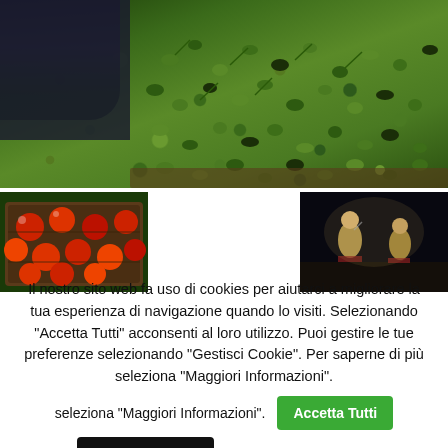[Figure (photo): A person tipping olives from a container into a pile; green and black olives with leaves visible in large quantity.]
[Figure (photo): A plastic crate filled with red tomatoes on a green background.]
[Figure (photo): Two people sitting on a stage in a dark theatre, one speaking.]
Il nostro sito web fa uso di cookies per aiutarci a migliorare la tua esperienza di navigazione quando lo visiti. Selezionando "Accetta Tutti" acconsenti al loro utilizzo. Puoi gestire le tue preferenze selezionando "Gestisci Cookie". Per saperne di più seleziona "Maggiori Informazioni".
Accetta Tutti
Gestisci Cookie
Maggiori Informazioni